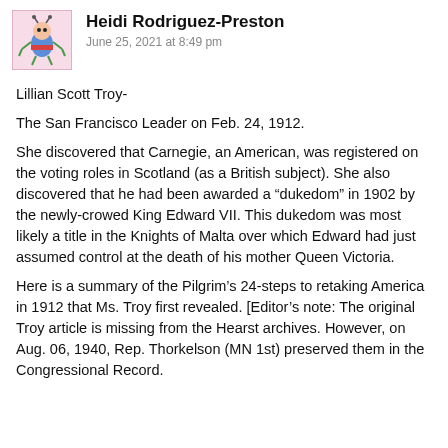[Figure (illustration): Avatar/profile picture: cartoon bug character on pink background]
Heidi Rodriguez-Preston
June 25, 2021 at 8:49 pm
Lillian Scott Troy-
The San Francisco Leader on Feb. 24, 1912.
She discovered that Carnegie, an American, was registered on the voting roles in Scotland (as a British subject). She also discovered that he had been awarded a “dukedom” in 1902 by the newly-crowed King Edward VII. This dukedom was most likely a title in the Knights of Malta over which Edward had just assumed control at the death of his mother Queen Victoria.
Here is a summary of the Pilgrim’s 24-steps to retaking America in 1912 that Ms. Troy first revealed. [Editor’s note: The original Troy article is missing from the Hearst archives. However, on Aug. 06, 1940, Rep. Thorkelson (MN 1st) preserved them in the Congressional Record.